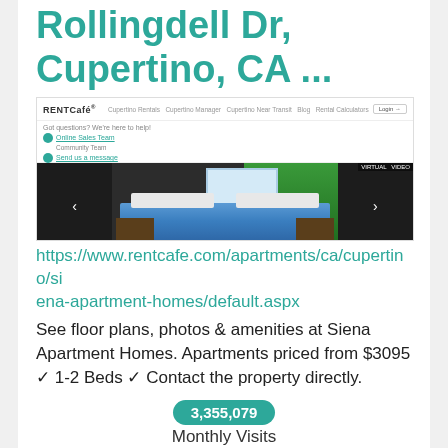Rollingdell Dr, Cupertino, CA ...
[Figure (screenshot): Screenshot of RENTCafé website showing Siena Apartment Homes listing with a bedroom photo, chat widget, and navigation bar]
https://www.rentcafe.com/apartments/ca/cupertino/siena-apartment-homes/default.aspx
See floor plans, photos & amenities at Siena Apartment Homes. Apartments priced from $3095 ✓ 1-2 Beds ✓ Contact the property directly.
3,355,079
Monthly Visits
US